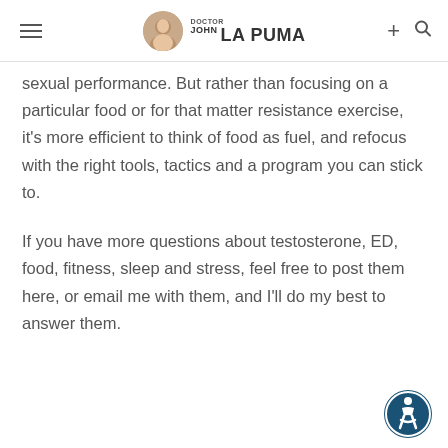Doctor John La Puma
sexual performance. But rather than focusing on a particular food or for that matter resistance exercise, it's more efficient to think of food as fuel, and refocus with the right tools, tactics and a program you can stick to.
If you have more questions about testosterone, ED, food, fitness, sleep and stress, feel free to post them here, or email me with them, and I'll do my best to answer them.